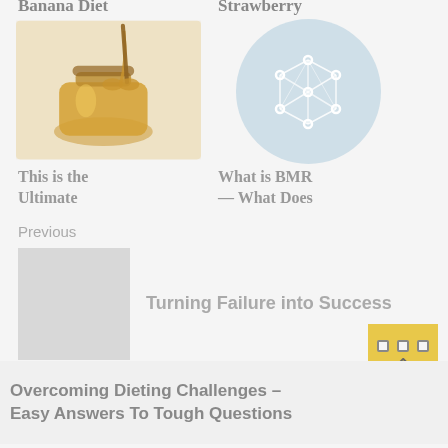Banana Diet
Strawberry
[Figure (photo): A jar of honey with a honey dipper, golden honey dripping]
[Figure (illustration): Light blue circle with a geometric polygon/network icon inside]
This is the Ultimate
What is BMR — What Does
Previous
[Figure (photo): Gray placeholder thumbnail image]
Turning Failure into Success
Overcoming Dieting Challenges – Easy Answers To Tough Questions
[Figure (other): Yellow back-to-top button with notebook ring motif and upward chevron]